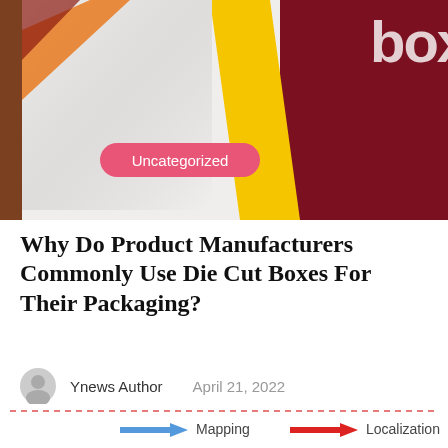[Figure (photo): Hero image showing a product box on left with yellow and dark brown stripe accent, dark maroon background on right, with a pink 'Uncategorized' badge overlay and partial 'box' text top right]
Why Do Product Manufacturers Commonly Use Die Cut Boxes For Their Packaging?
Ynews Author   April 21, 2022
[Figure (infographic): Partial infographic showing blue arrow labeled 'Mapping', red arrow labeled 'Localization', with a dashed red border box containing 'Laser Scans' at bottom]